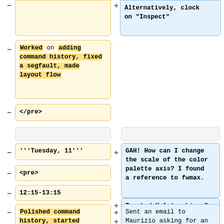Alternatively, clock on "Inspect"
Worked on adding command history, fixed a segfault, made layout flow
</pre>
'''Tuesday, 11'''
GAH!  How can I change the scale of the color palette axis?  I found a reference to fwmax.
<pre>
Tweaked Kyle's phi_z.C
12:15-13:15
Made edep_strip.C
Polished command history, started synching with
Sent an email to Maurizio asking for an explanation regarding